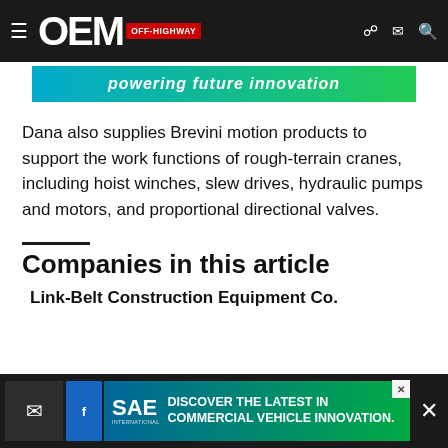[Figure (screenshot): OEM Off-Highway website navigation bar with logo, hamburger menu, and icons]
[Figure (illustration): Banner advertisement with gradient background reading 'powering future innovation']
Dana also supplies Brevini motion products to support the work functions of rough-terrain cranes, including hoist winches, slew drives, hydraulic pumps and motors, and proportional directional valves.
Companies in this article
Link-Belt Construction Equipment Co.
[Figure (screenshot): Bottom ad banner for SAE International: DISCOVER THE LATEST IN COMMERCIAL VEHICLE INNOVATION.]